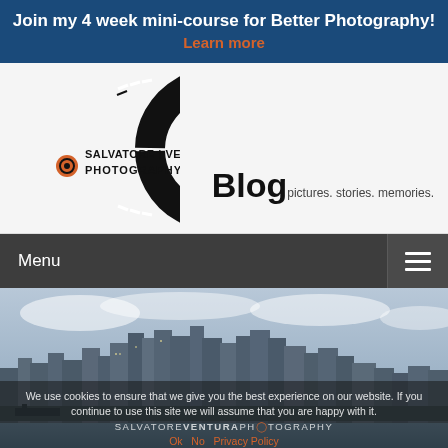Join my 4 week mini-course for Better Photography!
Learn more
[Figure (logo): Salvatore Ventura Photography logo — circular C-shaped camera aperture icon in black with dashed top, orange lens circle, text 'SALVATORE | VENTURA PHOTOGRAPHY']
Blog pictures. stories. memories.
Menu
[Figure (photo): Panoramic city skyline photo showing downtown Vancouver with skyscrapers reflected in water, cloudy sky]
We use cookies to ensure that we give you the best experience on our website. If you continue to use this site we will assume that you are happy with it.
SALVATORE VENTURA PHOTOGRAPHY
Ok  No  Privacy Policy